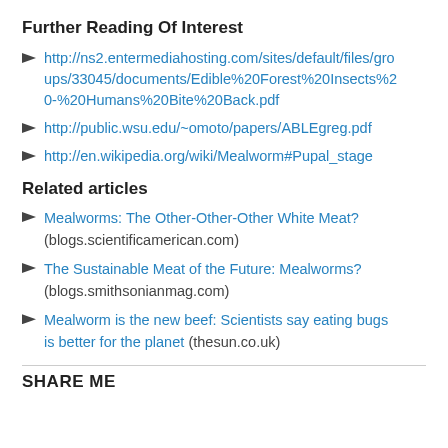Further Reading Of Interest
http://ns2.entermediahosting.com/sites/default/files/groups/33045/documents/Edible%20Forest%20Insects%20-%20Humans%20Bite%20Back.pdf
http://public.wsu.edu/~omoto/papers/ABLEgreg.pdf
http://en.wikipedia.org/wiki/Mealworm#Pupal_stage
Related articles
Mealworms: The Other-Other-Other White Meat? (blogs.scientificamerican.com)
The Sustainable Meat of the Future: Mealworms? (blogs.smithsonianmag.com)
Mealworm is the new beef: Scientists say eating bugs is better for the planet (thesun.co.uk)
SHARE ME